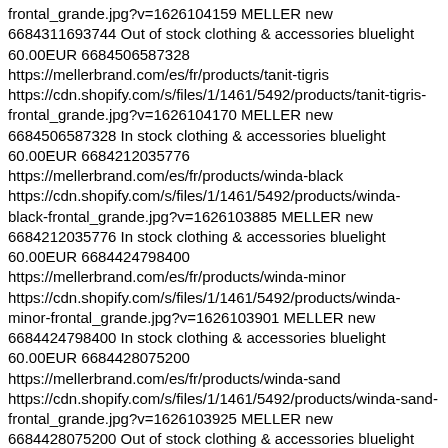frontal_grande.jpg?v=1626104159 MELLER new 6684311693744 Out of stock clothing & accessories bluelight 60.00EUR 6684506587328 https://mellerbrand.com/es/fr/products/tanit-tigris https://cdn.shopify.com/s/files/1/1461/5492/products/tanit-tigris-frontal_grande.jpg?v=1626104170 MELLER new 6684506587328 In stock clothing & accessories bluelight 60.00EUR 6684212035776 https://mellerbrand.com/es/fr/products/winda-black https://cdn.shopify.com/s/files/1/1461/5492/products/winda-black-frontal_grande.jpg?v=1626103885 MELLER new 6684212035776 In stock clothing & accessories bluelight 60.00EUR 6684424798400 https://mellerbrand.com/es/fr/products/winda-minor https://cdn.shopify.com/s/files/1/1461/5492/products/winda-minor-frontal_grande.jpg?v=1626103901 MELLER new 6684424798400 In stock clothing & accessories bluelight 60.00EUR 6684428075200 https://mellerbrand.com/es/fr/products/winda-sand https://cdn.shopify.com/s/files/1/1461/5492/products/winda-sand-frontal_grande.jpg?v=1626103925 MELLER new 6684428075200 Out of stock clothing & accessories bluelight 60.00EUR 6684208234688 https://mellerbrand.com/es/fr/products/winda-tigris https://cdn.shopify.com/s/files/1/1461/5492/products/winda-tigris-frontal_grande.jpg?v=1626103947 MELLER new 6684208234688 Out of stock clothing & accessories bluelight 60.00EUR 1483371282507 https://mellerbrand.com/es/fr/products/black-metal https://cdn.shopify.com/s/files/1/1461/5492/products/black-